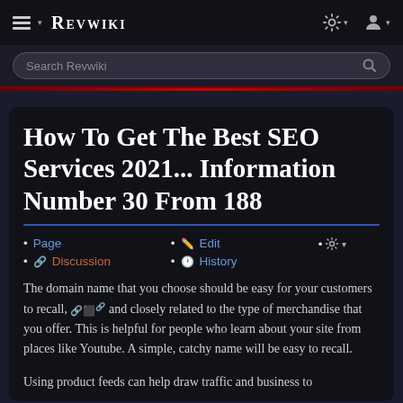REVWIKI
How To Get The Best SEO Services 2021... Information Number 30 From 188
Page
Discussion
Edit
History
The domain name that you choose should be easy for your customers to recall, and closely related to the type of merchandise that you offer. This is helpful for people who learn about your site from places like Youtube. A simple, catchy name will be easy to recall.
Using product feeds can help draw traffic and business to